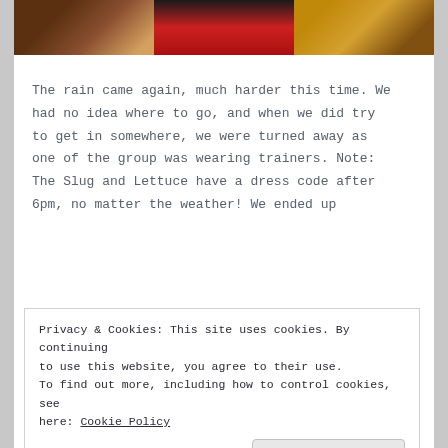[Figure (photo): Three photos in a row: left shows brown wooden bar/interior, center shows red surface with dark object, right shows golden/amber colored scene]
The rain came again, much harder this time. We had no idea where to go, and when we did try to get in somewhere, we were turned away as one of the group was wearing trainers. Note: The Slug and Lettuce have a dress code after 6pm, no matter the weather! We ended up
Privacy & Cookies: This site uses cookies. By continuing to use this website, you agree to their use.
To find out more, including how to control cookies, see here: Cookie Policy
Close and accept